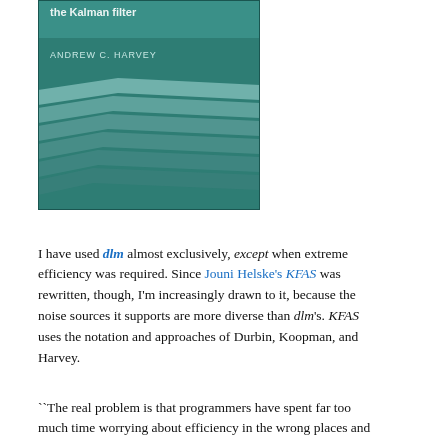[Figure (photo): Book cover showing 'the Kalman filter' by Andrew C. Harvey, teal/green colored cover with geometric wave shapes]
I have used dlm almost exclusively, except when extreme efficiency was required. Since Jouni Helske's KFAS was rewritten, though, I'm increasingly drawn to it, because the noise sources it supports are more diverse than dlm's. KFAS uses the notation and approaches of Durbin, Koopman, and Harvey.
``The real problem is that programmers have spent far too much time worrying about efficiency in the wrong places and